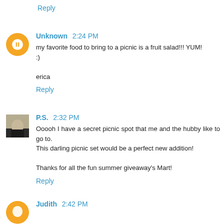Reply
Unknown 2:24 PM
my favorite food to bring to a picnic is a fruit salad!!! YUM! :)

erica
Reply
P.S. 2:32 PM
Ooooh I have a secret picnic spot that me and the hubby like to go to.
This darling picnic set would be a perfect new addition!

Thanks for all the fun summer giveaway's Mart!
Reply
Judith 2:42 PM